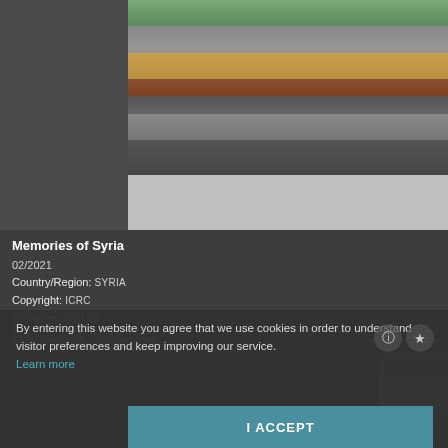[Figure (photo): Street scene in Syria showing a decorated cart loaded with fruit (appears to be melons/produce), with people and vehicles including a colorful truck in the background. Urban setting with trees and buildings visible.]
Memories of Syria
02/2021
Country/Region: SYRIA
Copyright: ICRC
Duration: 00:01:47
Reference: V-F-CR-F-03094-A
By entering this website you agree that we use cookies in order to understand visitor preferences and keep improving our service. Learn more
I ACCEPT